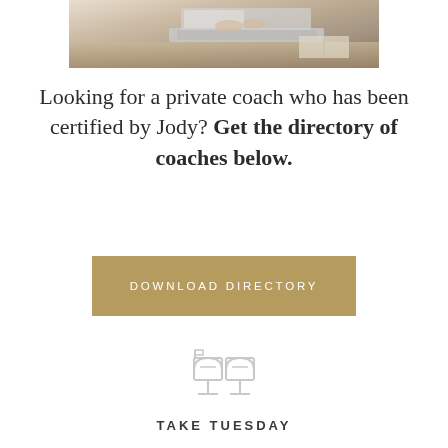[Figure (photo): Partial photo of person working on laptop at a desk with an open book, cropped at top]
Looking for a private coach who has been certified by Jody? Get the directory of coaches below.
DOWNLOAD DIRECTORY
[Figure (illustration): Outline icon of a mailbox with a flag]
TAKE TUESDAY